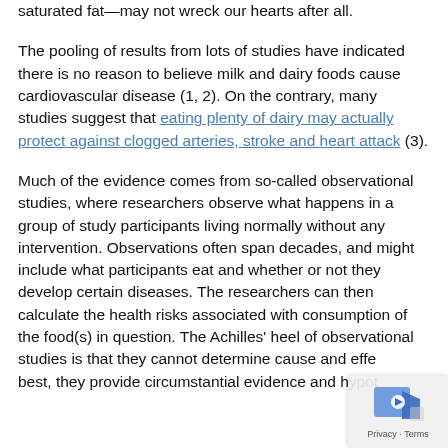saturated fat—may not wreck our hearts after all.
The pooling of results from lots of studies have indicated there is no reason to believe milk and dairy foods cause cardiovascular disease (1, 2). On the contrary, many studies suggest that eating plenty of dairy may actually protect against clogged arteries, stroke and heart attack (3).
Much of the evidence comes from so-called observational studies, where researchers observe what happens in a group of study participants living normally without any intervention. Observations often span decades, and might include what participants eat and whether or not they develop certain diseases. The researchers can then calculate the health risks associated with consumption of the food(s) in question. The Achilles' heel of observational studies is that they cannot determine cause and effect; at best, they provide circumstantial evidence and hypot...